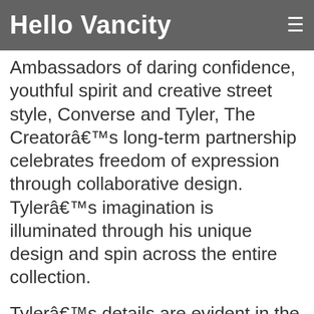Hello Vancity
Ambassadors of daring confidence, youthful spirit and creative street style, Converse and Tyler, The Creatorâ€™s long-term partnership celebrates freedom of expression through collaborative design. Tylerâ€™s imagination is illuminated through his unique design and spin across the entire collection.
Tylerâ€™s details are evident in the classic suede One Star x Golf le Fleur silhouette, from the flower contrast stitching surrounding the iconic star, embroidered bee logo on heel stay, debossed tonal Golf le Fleur logo on